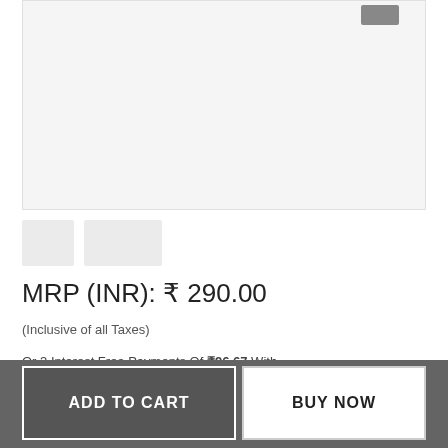[Figure (photo): Product image area, light gray background placeholder]
[Figure (photo): Two product thumbnail images, light gray placeholders]
MRP (INR): ₹ 290.00
(Inclusive of all Taxes)
Or 3 Interest Free Payments Of ₹96.67 With
For illustration purposes only*
ADD TO CART
BUY NOW